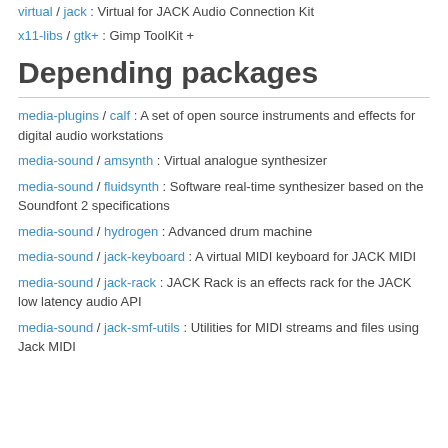virtual / jack : Virtual for JACK Audio Connection Kit
x11-libs / gtk+ : Gimp ToolKit +
Depending packages
media-plugins / calf : A set of open source instruments and effects for digital audio workstations
media-sound / amsynth : Virtual analogue synthesizer
media-sound / fluidsynth : Software real-time synthesizer based on the Soundfont 2 specifications
media-sound / hydrogen : Advanced drum machine
media-sound / jack-keyboard : A virtual MIDI keyboard for JACK MIDI
media-sound / jack-rack : JACK Rack is an effects rack for the JACK low latency audio API
media-sound / jack-smf-utils : Utilities for MIDI streams and files using Jack MIDI